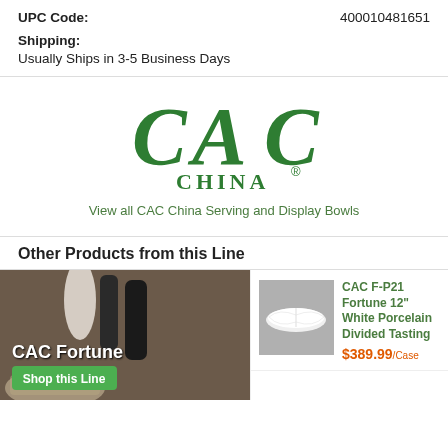UPC Code: 400010481651
Shipping: Usually Ships in 3-5 Business Days
[Figure (logo): CAC China logo in green gothic lettering with registered trademark symbol]
View all CAC China Serving and Display Bowls
Other Products from this Line
[Figure (photo): CAC Fortune product line promotional photo showing food items on dark background with 'CAC Fortune' text and 'Shop this Line' green button]
[Figure (photo): CAC F-P21 Fortune 12 inch White Porcelain Divided Tasting product image on grey background]
CAC F-P21 Fortune 12" White Porcelain Divided Tasting
$389.99/Case